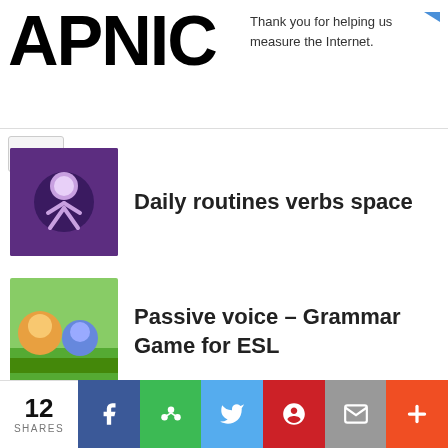APNIC
Thank you for helping us measure the Internet.
Daily routines verbs space
Passive voice – Grammar Game for ESL
Common Adjectives Game
This site uses cookies. By continuing to browse the site, you are agreeing to our use of cookies.
Dividing by 100, 5th grade math game
12 SHARES